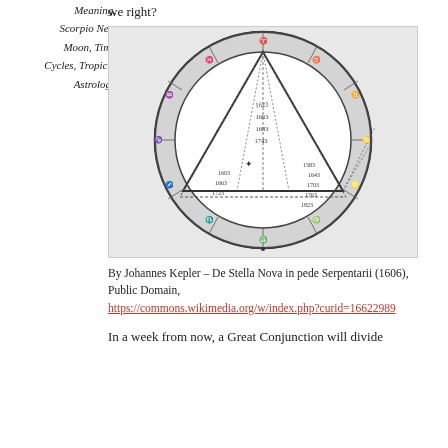Meaning, Scorpio New Moon, Time Cycles, Tropical Astrology
we right?
[Figure (illustration): Historical astronomical diagram by Johannes Kepler from De Stella Nova (1606), showing a zodiac wheel with a large triangle inscribed inside a circle with astrological symbols and dates around the rim.]
By Johannes Kepler – De Stella Nova in pede Serpentarii (1606), Public Domain, https://commons.wikimedia.org/w/index.php?curid=16622989
In a week from now, a Great Conjunction will divide